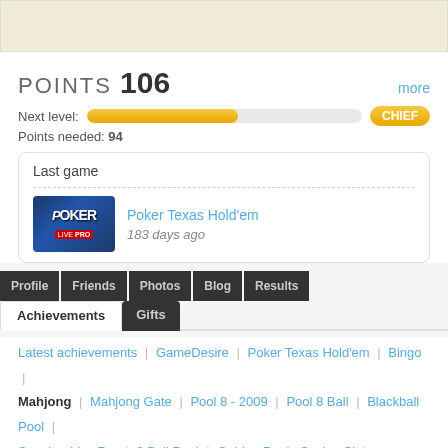[Figure (screenshot): Top banner beige/tan rectangle]
POINTS 106
more
Next level:
[Figure (other): Progress bar with orange fill, approximately 55% full]
CHIEF
Points needed: 94
Last game
[Figure (photo): Poker Live Pro game thumbnail dark blue background]
Poker Texas Hold'em
183 days ago
Profile
Friends
Photos
Blog
Results
Achievements
Gifts
Latest achievements | GameDesire | Poker Texas Hold'em | Bingo
Mahjong | Mahjong Gate | Pool 8 - 2009 | Pool 8 Ball | Blackball Pool
Snooker Live Pro | 9 Ball Pool | Golden Reels Casino Slots